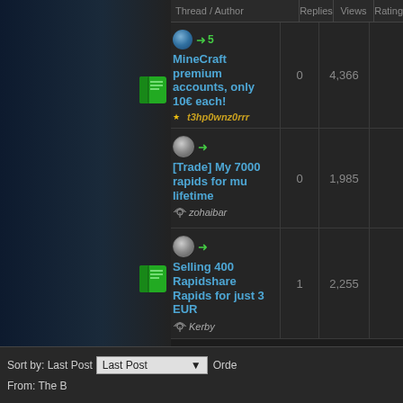| Thread / Author | Replies | Views | Rating |
| --- | --- | --- | --- |
| MineCraft premium accounts, only 10€ each! | t3hp0wnz0rrr | 0 | 4,366 |  |
| [Trade] My 7000 rapids for mu lifetime | zohaibar | 0 | 1,985 |  |
| Selling 400 Rapidshare Rapids for just 3 EUR | Kerby | 1 | 2,255 |  |
Sort by: Last Post
Orde
From: The B